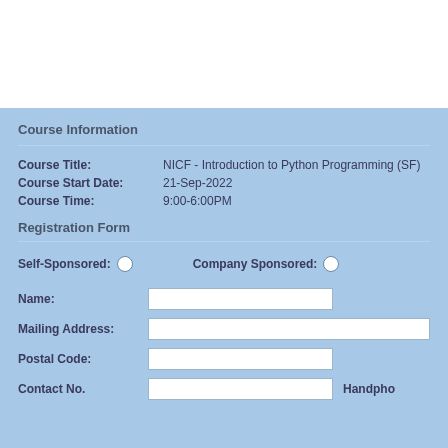Course Information
Course Title: NICF - Introduction to Python Programming (SF)
Course Start Date: 21-Sep-2022
Course Time: 9:00-6:00PM
Registration Form
Self-Sponsored:
Company Sponsored:
Name:
Mailing Address:
Postal Code:
Contact No.
Handpho